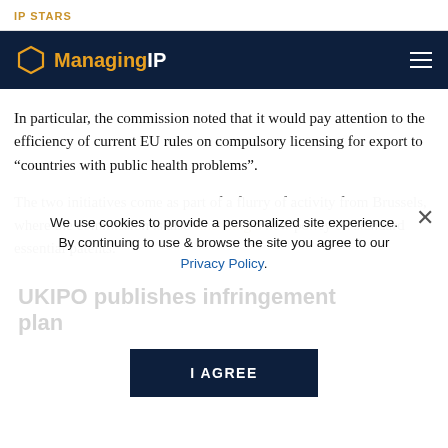IP STARS
[Figure (logo): Managing IP logo with hexagon icon on dark navy navigation bar]
In particular, the commission noted that it would pay attention to the efficiency of current EU rules on compulsory licensing for export to “countries with public health problems”.
The two initiatives come as part of a flurry of activity from Brussels, where the commission is also finalising a new policy on standard essential patents.
We use cookies to provide a personalized site experience. By continuing to use & browse the site you agree to our Privacy Policy.
UKIPO publishes infringement plan
The UKIPO revealed a five-year counter-infringement plan aimed at making UK intellectual property rights the “best